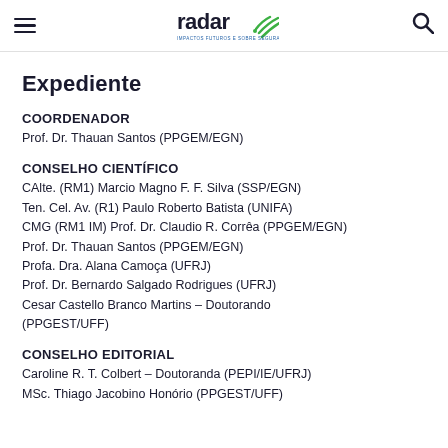radar — IMPACTOS FUTUROS SOBRE SEGURANÇA INTERNACIONAL E DEFESA
Expediente
COORDENADOR
Prof. Dr. Thauan Santos (PPGEM/EGN)
CONSELHO CIENTÍFICO
CAlte. (RM1) Marcio Magno F. F. Silva (SSP/EGN)
Ten. Cel. Av. (R1) Paulo Roberto Batista (UNIFA)
CMG (RM1 IM) Prof. Dr. Claudio R. Corrêa (PPGEM/EGN)
Prof. Dr. Thauan Santos (PPGEM/EGN)
Profa. Dra. Alana Camoça (UFRJ)
Prof. Dr. Bernardo Salgado Rodrigues (UFRJ)
Cesar Castello Branco Martins – Doutorando (PPGEST/UFF)
CONSELHO EDITORIAL
Caroline R. T. Colbert – Doutoranda (PEPI/IE/UFRJ)
MSc. Thiago Jacobino Honório (PPGEST/UFF)